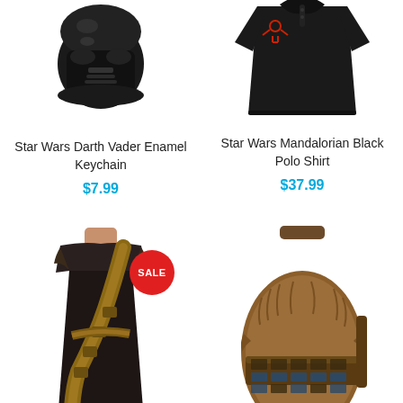[Figure (photo): Star Wars Darth Vader Enamel Keychain - black Darth Vader helmet keychain with silver ring]
Star Wars Darth Vader Enamel Keychain
$7.99
[Figure (photo): Star Wars Mandalorian Black Polo Shirt - black polo shirt with small red Mandalorian symbol on chest]
Star Wars Mandalorian Black Polo Shirt
$37.99
[Figure (photo): Woman wearing Chewbacca themed dark tank dress with bandolier design, SALE badge visible]
[Figure (photo): Chewbacca themed backpack with fur texture and bandolier design]